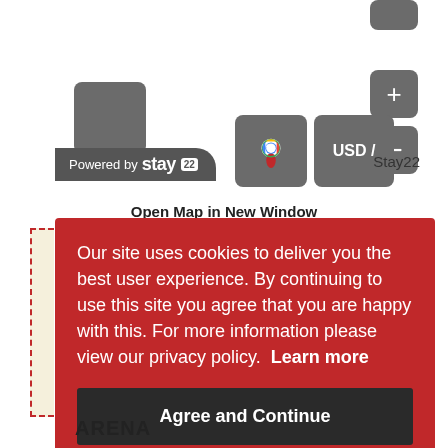[Figure (screenshot): Map UI interface showing gray rounded buttons for navigation (plus, minus, location), Google Maps icon button, USD currency button, Stay22 powered-by badge, and Open Map in New Window link]
Open Map in New Window
Our site uses cookies to deliver you the best user experience. By continuing to use this site you agree that you are happy with this. For more information please view our privacy policy.  Learn more
Agree and Continue
ARENA